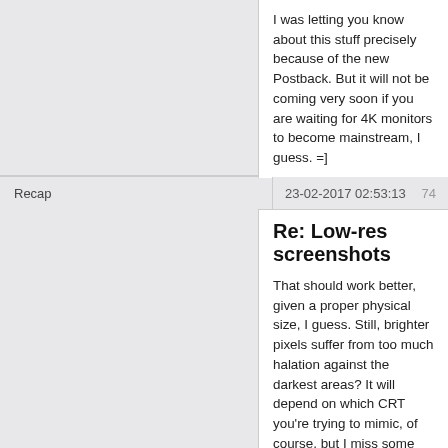[Figure (photo): Partial screenshot of a colorful purple/pink/magenta glowing display image, cropped at top]
I was letting you know about this stuff precisely because of the new Postback. But it will not be coming very soon if you are waiting for 4K monitors to become mainstream, I guess. =]
Recap
23-02-2017 02:53:13
74
Re: Low-res screenshots
That should work better, given a proper physical size, I guess. Still, brighter pixels suffer from too much halation against the darkest areas? It will depend on which CRT you're trying to mimic, of course, but I miss some general blurriness to get a more cohesive, organic pic.
https://s16.postimg.org/vam4clkol/rka.jpg
I've no experience with shaders for now, I'm afraid. I have confidence in getting better at photographing CRT screens since I want the best, most authentic way. It's painfully time-consuming, but hopefully I can get tolerable results at ~1280 x 1024:
https://s4.postimg.org/6ifdf0dtp/NG_Kizuna_02Eopo...